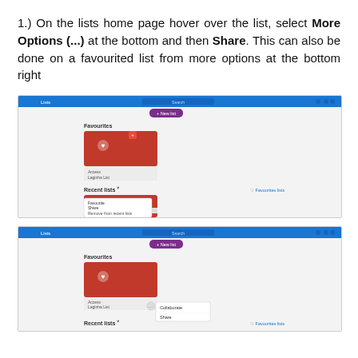1.) On the lists home page hover over the list, select More Options (...) at the bottom and then Share. This can also be done on a favourited list from more options at the bottom right
[Figure (screenshot): Screenshot of Microsoft Lists home page showing Favourites section with a red list card, and Recent lists section with a dropdown menu showing options including Favourite, Share, and Remove from recent lists]
[Figure (screenshot): Screenshot of Microsoft Lists home page showing Favourites section with a red list card and a small popup menu showing Collaborate and Share options, and Recent lists section below]